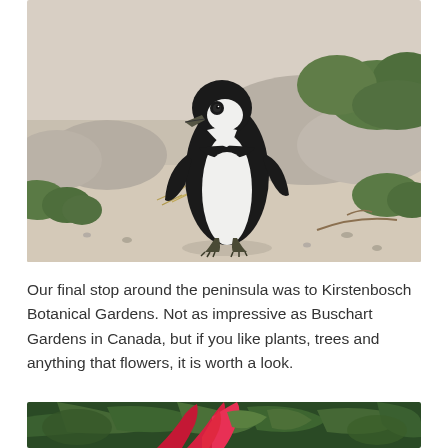[Figure (photo): A black and white African penguin standing on sandy rocky ground with green shrubs and rocks in the background. The penguin faces left and has distinctive black and white coloring.]
Our final stop around the peninsula was to Kirstenbosch Botanical Gardens. Not as impressive as Buschart Gardens in Canada, but if you like plants, trees and anything that flowers, it is worth a look.
[Figure (photo): Close-up of a tropical plant or flower with bright red/pink and green leaves or petals, partially visible at the bottom of the page.]